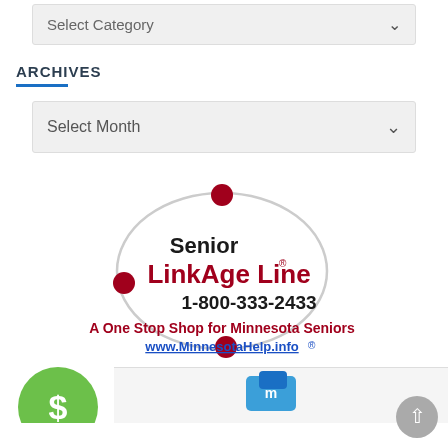[Figure (screenshot): Select Category dropdown box with chevron arrow]
ARCHIVES
[Figure (screenshot): Select Month dropdown box with chevron arrow]
[Figure (logo): Senior LinkAge Line logo with orbit graphic, phone number 1-800-333-2433, tagline 'A One Stop Shop for Minnesota Seniors', and website www.MinnesotaHelp.info]
[Figure (other): Partial green dollar sign icon and partial blue icon at bottom of page]